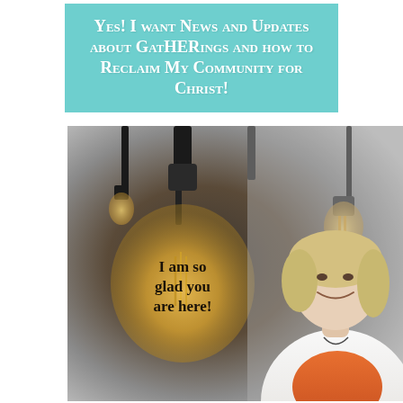Yes! I want News and Updates about GatHERings and how to Reclaim My Community for Christ!
[Figure (photo): A woman with short blonde hair smiling, standing in front of hanging vintage Edison light bulbs with warm glow. A large lightbulb in the foreground has text overlaid reading 'I am so glad you are here!']